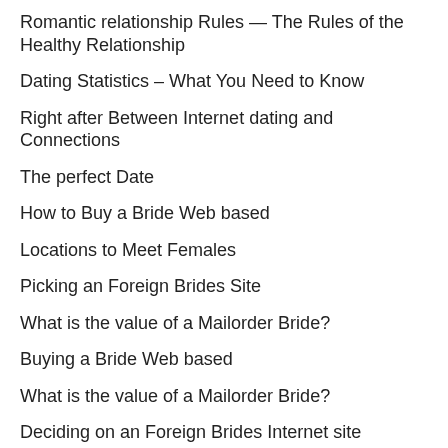Romantic relationship Rules — The Rules of the Healthy Relationship
Dating Statistics – What You Need to Know
Right after Between Internet dating and Connections
The perfect Date
How to Buy a Bride Web based
Locations to Meet Females
Picking an Foreign Brides Site
What is the value of a Mailorder Bride?
Buying a Bride Web based
What is the value of a Mailorder Bride?
Deciding on an Foreign Brides Internet site